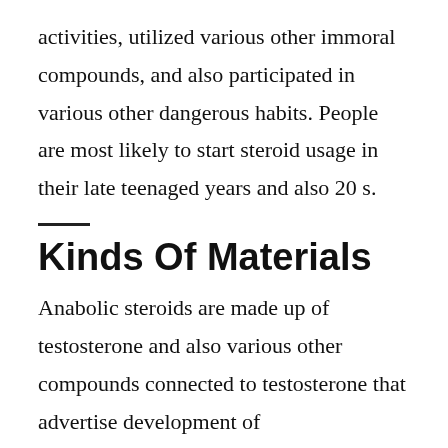activities, utilized various other immoral compounds, and also participated in various other dangerous habits. People are most likely to start steroid usage in their late teenaged years and also 20 s.
Kinds Of Materials
Anabolic steroids are made up of testosterone and also various other compounds connected to testosterone that advertise development of